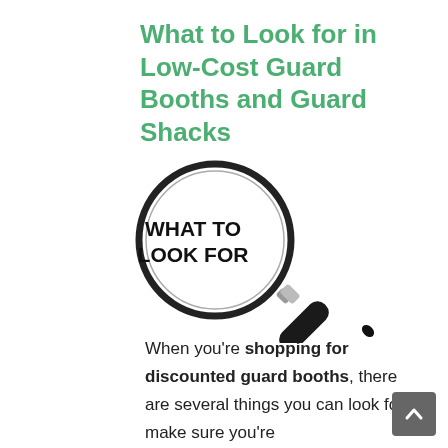What to Look for in Low-Cost Guard Booths and Guard Shacks
[Figure (photo): A magnifying glass with the text 'WHAT TO LOOK FOR' visible through the lens, with a black handle.]
When you're shopping for discounted guard booths, there are several things you can look for to make sure you're